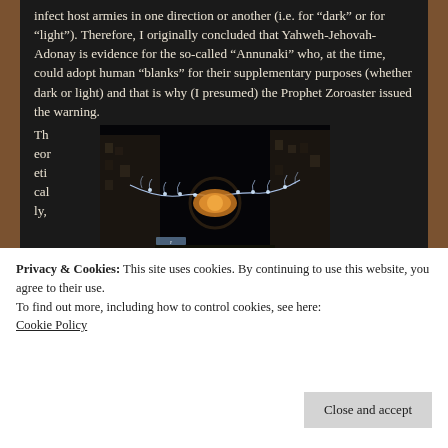created energy fields of influence that would infect host armies in one direction or another (i.e. for “dark” or for “light”). Therefore, I originally concluded that Yahweh-Jehovah-Adonay is evidence for the so-called “Annunaki” who, at the time, could adopt human “blanks” for their supplementary purposes (whether dark or light) and that is why (I presumed) the Prophet Zoroaster issued the warning.
Theoretically,
[Figure (photo): Night street scene with blue/white decorative lights (Christmas lights) strung across a city street between tall buildings, with a central illuminated decorative piece]
led
Privacy & Cookies: This site uses cookies. By continuing to use this website, you agree to their use.
To find out more, including how to control cookies, see here: Cookie Policy